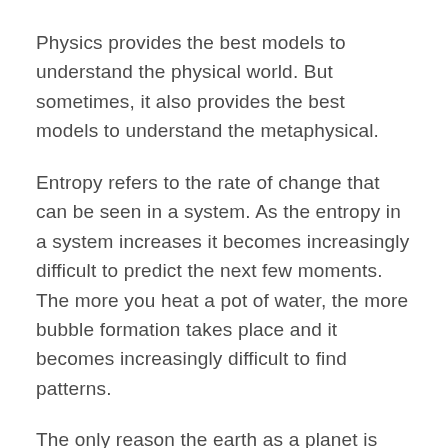Physics provides the best models to understand the physical world. But sometimes, it also provides the best models to understand the metaphysical.
Entropy refers to the rate of change that can be seen in a system. As the entropy in a system increases it becomes increasingly difficult to predict the next few moments. The more you heat a pot of water, the more bubble formation takes place and it becomes increasingly difficult to find patterns.
The only reason the earth as a planet is alive is due to its ability to hold onto heat. Heat creates entropy. Entropy creates change and that is essential to the existence of life. Mars by comparison lacks an atmosphere and hence does not have any heat in the system, the lack of entropy means nothing lives on